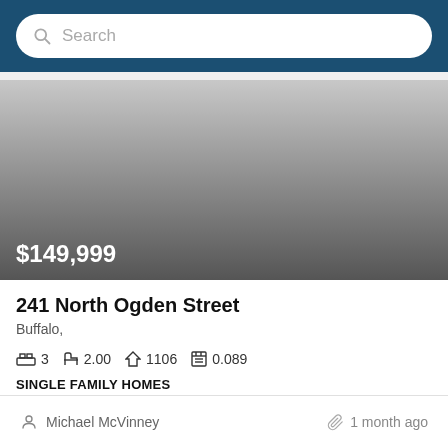Search
[Figure (photo): Property listing image placeholder with gradient from light gray to dark gray, showing price $149,999 in white text at bottom left]
241 North Ogden Street
Buffalo,
3  2.00  1106  0.089
SINGLE FAMILY HOMES
Michael McVinney   1 month ago